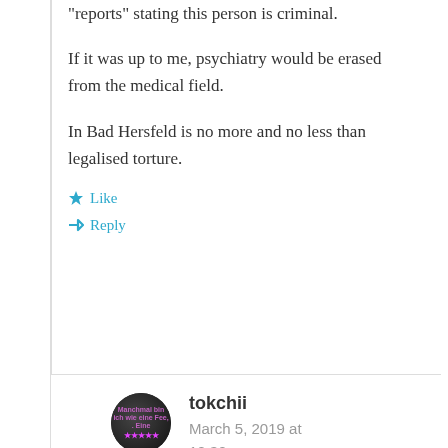“reports” stating this person is criminal.
If it was up to me, psychiatry would be erased from the medical field.
In Bad Hersfeld is no more and no less than legalised torture.
Like
Reply
tokchii
March 5, 2019 at 12:30 pm